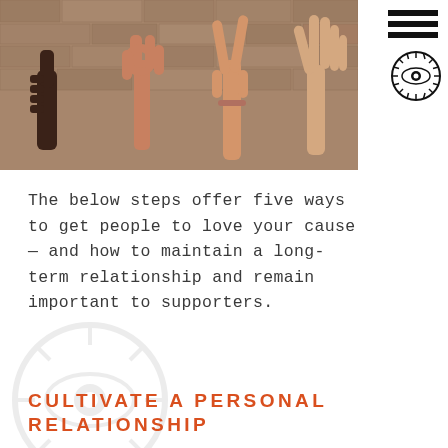[Figure (photo): Four hands raised against a stone/brick wall background, each making a different hand gesture: thumbs up, OK sign, peace/V sign, and open hand. Photo has warm tones.]
The below steps offer five ways to get people to love your cause— and how to maintain a long-term relationship and remain important to supporters.
CULTIVATE A PERSONAL RELATIONSHIP